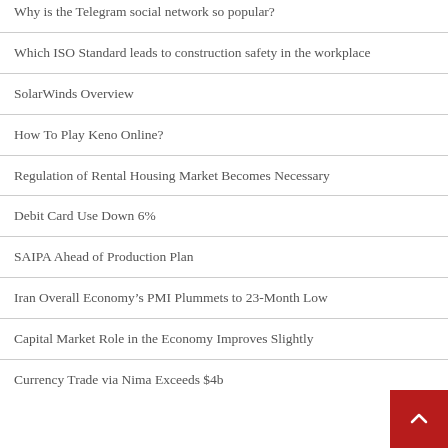Why is the Telegram social network so popular?
Which ISO Standard leads to construction safety in the workplace
SolarWinds Overview
How To Play Keno Online?
Regulation of Rental Housing Market Becomes Necessary
Debit Card Use Down 6%
SAIPA Ahead of Production Plan
Iran Overall Economy's PMI Plummets to 23-Month Low
Capital Market Role in the Economy Improves Slightly
Currency Trade via Nima Exceeds $4b